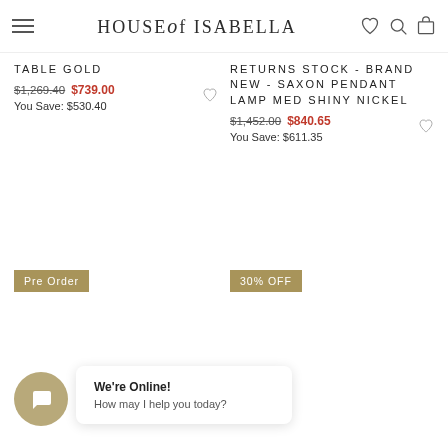HOUSE of ISABELLA
TABLE GOLD
$1,269.40  $739.00
You Save: $530.40
RETURNS STOCK - BRAND NEW - SAXON PENDANT LAMP MED SHINY NICKEL
$1,452.00  $840.65
You Save: $611.35
Pre Order
30% OFF
We're Online!
How may I help you today?